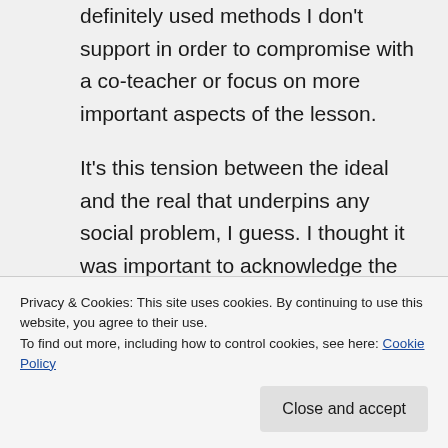definitely used methods I don't support in order to compromise with a co-teacher or focus on more important aspects of the lesson.
It's this tension between the ideal and the real that underpins any social problem, I guess. I thought it was important to acknowledge the problem, which could hopefully be a first step to solving it practically.
Privacy & Cookies: This site uses cookies. By continuing to use this website, you agree to their use.
To find out more, including how to control cookies, see here: Cookie Policy
Close and accept